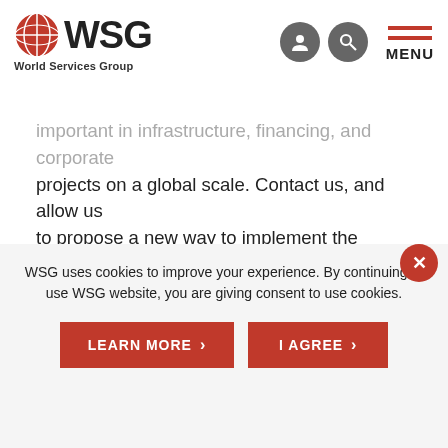WSG World Services Group
excellent legal team at BLP has
date or the firm to participate
important in infrastructure, financing, and corporate
projects on a global scale. Contact us, and allow us
to propose a new way to implement the decisions
your business requires to succeed.
Lawyers Worldwide: 180
WSG uses cookies to improve your experience. By continuing to use WSG website, you are giving consent to use cookies.